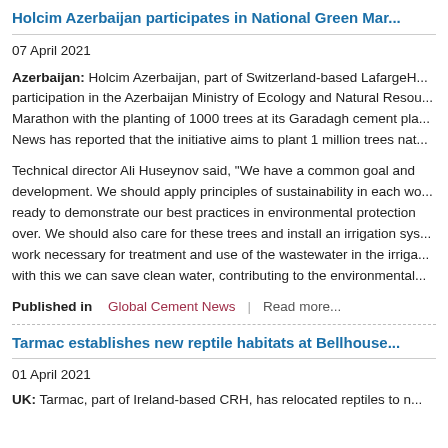Holcim Azerbaijan participates in National Green Mar...
07 April 2021
Azerbaijan: Holcim Azerbaijan, part of Switzerland-based LafargeH... participation in the Azerbaijan Ministry of Ecology and Natural Resou... Marathon with the planting of 1000 trees at its Garadagh cement pla... News has reported that the initiative aims to plant 1 million trees nat...
Technical director Ali Huseynov said, "We have a common goal and development. We should apply principles of sustainability in each wo... ready to demonstrate our best practices in environmental protection over. We should also care for these trees and install an irrigation sys... work necessary for treatment and use of the wastewater in the irriga... with this we can save clean water, contributing to the environmental...
Published in  Global Cement News  |  Read more...
Tarmac establishes new reptile habitats at Bellhouse...
01 April 2021
UK: Tarmac, part of Ireland-based CRH, has relocated reptiles to n...